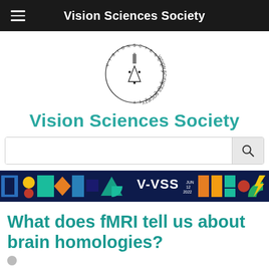Vision Sciences Society
[Figure (logo): Vision Sciences Society circular logo with clock-like design and text around the circle]
Vision Sciences Society
[Figure (infographic): V-VSS 2022 colorful banner strip with geometric shapes and logos]
What does fMRI tell us about brain homologies?